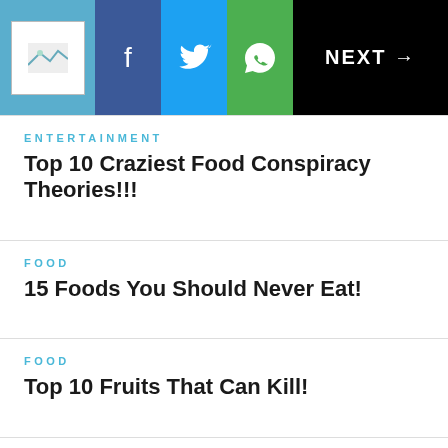Logo | Facebook | Twitter | WhatsApp | NEXT →
ENTERTAINMENT
Top 10 Craziest Food Conspiracy Theories!!!
FOOD
15 Foods You Should Never Eat!
FOOD
Top 10 Fruits That Can Kill!
FOOD
10 Products You'll Never